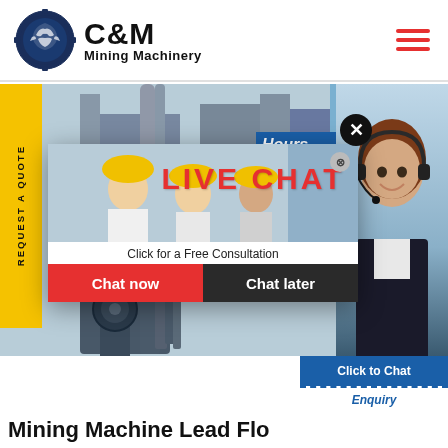[Figure (logo): C&M Mining Machinery logo with eagle in gear circle, dark navy blue, with company name text]
[Figure (photo): Industrial mining machinery facility background with workers in yellow hard hats; popup overlay with LIVE CHAT interface showing Chat now and Chat later buttons; headset customer service woman on right; REQUEST A QUOTE yellow vertical sidebar tab; close X button]
Mining Machine Lead Flo...
Enquiry